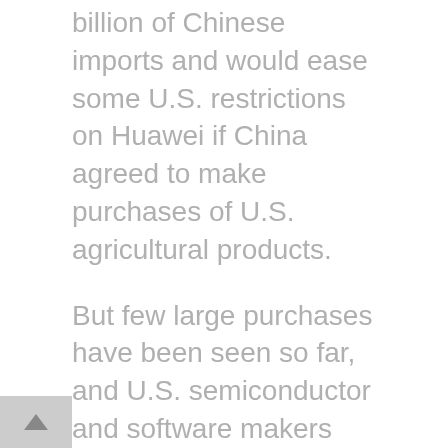billion of Chinese imports and would ease some U.S. restrictions on Huawei if China agreed to make purchases of U.S. agricultural products.
But few large purchases have been seen so far, and U.S. semiconductor and software makers remain mostly in the dark about the administration's plans on Huawei.
Reporting by Brenda Goh, David Stanway, Yilei Sun, Engen Tham, and Josh Horwitz in Shanghai, and Huizhong Wu in Beijing; and Roberta Rampton, David Lawder and Andrea